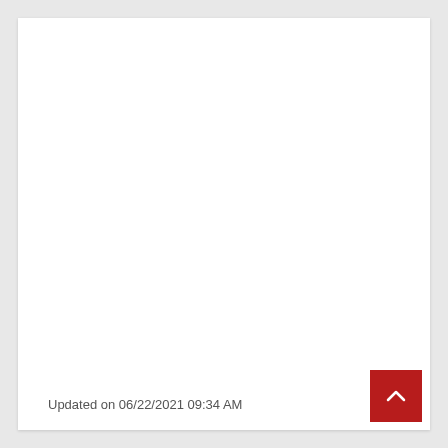Updated on 06/22/2021 09:34 AM